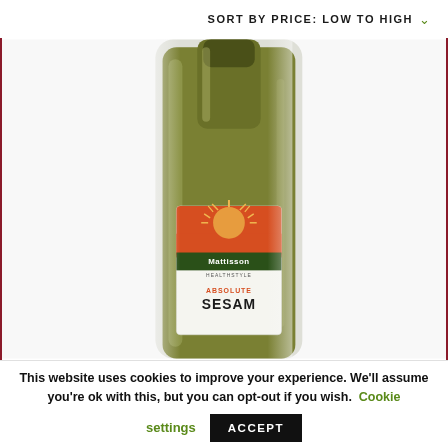SORT BY PRICE: LOW TO HIGH
[Figure (photo): A glass bottle of Mattisson Healthstyle Absolute Sesam (sesame oil) with an olive/dark green color liquid, with a white label featuring an orange/red sunburst logo and the brand name Mattisson Healthstyle. The bottle's neck and top portion are visible, along with part of the label showing 'ABSOLUTE SESAM' text.]
This website uses cookies to improve your experience. We'll assume you're ok with this, but you can opt-out if you wish. Cookie settings ACCEPT